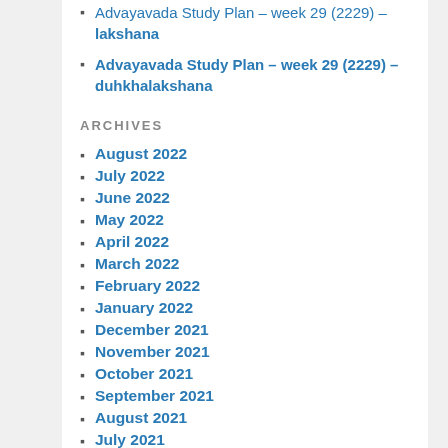Advayavada Study Plan – week 29 (2229) – lakshana
Advayavada Study Plan – week 29 (2229) – duhkhalakshana
ARCHIVES
August 2022
July 2022
June 2022
May 2022
April 2022
March 2022
February 2022
January 2022
December 2021
November 2021
October 2021
September 2021
August 2021
July 2021
June 2021
May 2021